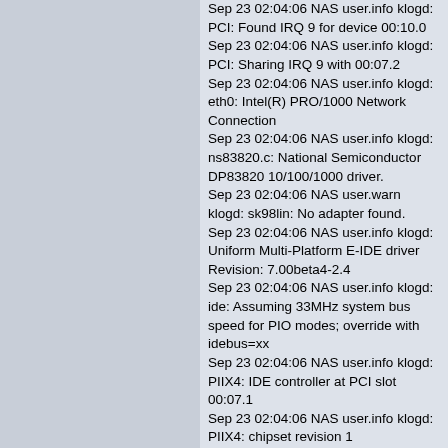Sep 23 02:04:06 NAS user.info klogd: PCI: Found IRQ 9 for device 00:10.0
Sep 23 02:04:06 NAS user.info klogd: PCI: Sharing IRQ 9 with 00:07.2
Sep 23 02:04:06 NAS user.info klogd: eth0: Intel(R) PRO/1000 Network Connection
Sep 23 02:04:06 NAS user.info klogd: ns83820.c: National Semiconductor DP83820 10/100/1000 driver.
Sep 23 02:04:06 NAS user.warn klogd: sk98lin: No adapter found.
Sep 23 02:04:06 NAS user.info klogd: Uniform Multi-Platform E-IDE driver Revision: 7.00beta4-2.4
Sep 23 02:04:06 NAS user.info klogd: ide: Assuming 33MHz system bus speed for PIO modes; override with idebus=xx
Sep 23 02:04:06 NAS user.info klogd: PIIX4: IDE controller at PCI slot 00:07.1
Sep 23 02:04:06 NAS user.info klogd: PIIX4: chipset revision 1
Sep 23 02:04:06 NAS user.info klogd: